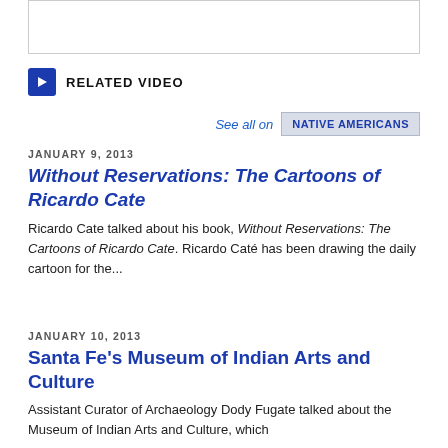RELATED VIDEO
See all on   NATIVE AMERICANS
JANUARY 9, 2013
Without Reservations: The Cartoons of Ricardo Cate
Ricardo Cate talked about his book, Without Reservations: The Cartoons of Ricardo Cate. Ricardo Caté has been drawing the daily cartoon for the...
JANUARY 10, 2013
Santa Fe's Museum of Indian Arts and Culture
Assistant Curator of Archaeology Dody Fugate talked about the Museum of Indian Arts and Culture, which